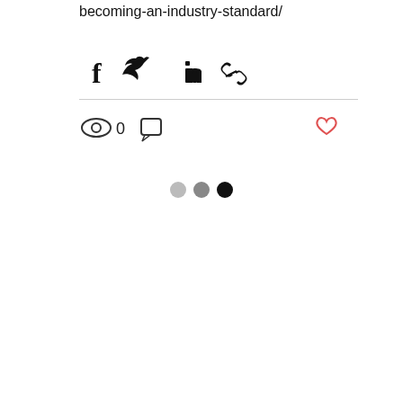becoming-an-industry-standard/
[Figure (screenshot): Social share icons: Facebook, Twitter, LinkedIn, and link/copy icon]
[Figure (infographic): Stats bar with eye/views icon showing 0 views, comment icon, and heart/like icon in red]
[Figure (infographic): Three dots pagination indicator: light gray, medium gray, black]